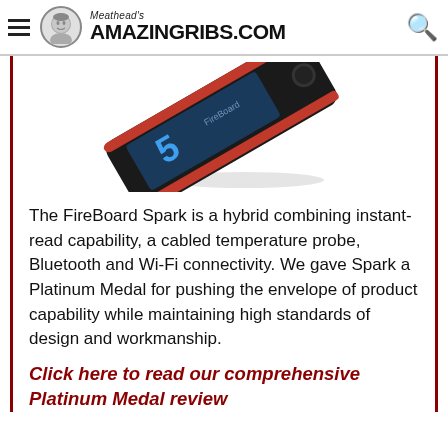Meathead's AmazingRibs.com
[Figure (photo): Close-up photo of the FireBoard Spark thermometer device, showing its red and black casing with a digital display, viewed at an angle from above.]
The FireBoard Spark is a hybrid combining instant-read capability, a cabled temperature probe, Bluetooth and Wi-Fi connectivity. We gave Spark a Platinum Medal for pushing the envelope of product capability while maintaining high standards of design and workmanship.
Click here to read our comprehensive Platinum Medal review